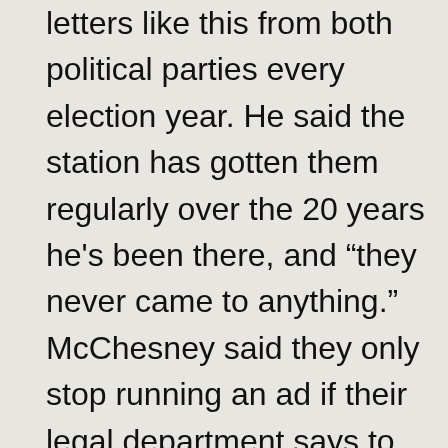letters like this from both political parties every election year. He said the station has gotten them regularly over the 20 years he's been there, and "they never came to anything." McChesney said they only stop running an ad if their legal department says to, for example if a claim in the ad is unsubstantiated.

McChesney said their procedure is to send such letters to their company's